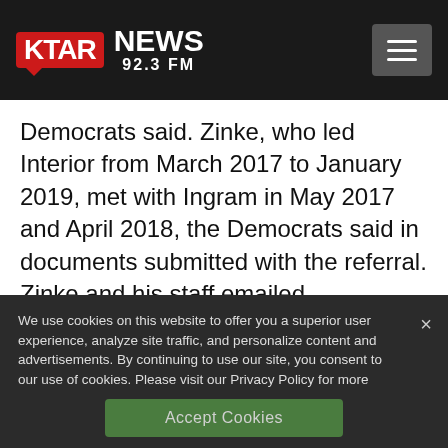[Figure (logo): KTAR News 92.3 FM logo with red KTAR badge and hamburger menu button]
Democrats said. Zinke, who led Interior from March 2017 to January 2019, met with Ingram in May 2017 and April 2018, the Democrats said in documents submitted with the referral. Zinke and his staff emailed
We use cookies on this website to offer you a superior user experience, analyze site traffic, and personalize content and advertisements. By continuing to use our site, you consent to our use of cookies. Please visit our Privacy Policy for more information.
Accept Cookies